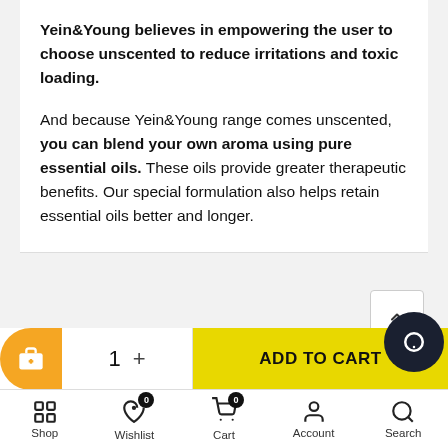Yein&Young believes in empowering the user to choose unscented to reduce irritations and toxic loading.

And because Yein&Young range comes unscented, you can blend your own aroma using pure essential oils. These oils provide greater therapeutic benefits. Our special formulation also helps retain essential oils better and longer.
[Figure (screenshot): E-commerce bottom bar with orange button, quantity selector (1 +), yellow ADD TO CART button, chat bubble, and bottom navigation with Shop, Wishlist (0), Cart (0), Account, Search icons.]